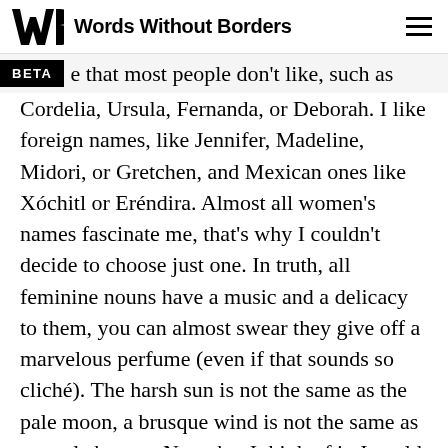Words Without Borders
e that most people don't like, such as Cordelia, Ursula, Fernanda, or Deborah. I like foreign names, like Jennifer, Madeline, Midori, or Gretchen, and Mexican ones like Xóchitl or Eréndira. Almost all women's names fascinate me, that's why I couldn't decide to choose just one. In truth, all feminine nouns have a music and a delicacy to them, you can almost swear they give off a marvelous perfume (even if that sounds so cliché). The harsh sun is not the same as the pale moon, a brusque wind is not the same as a gentle breeze. Now that I think of it, I could also call myself Rain or Mist, but I'm just not enough of a hippy. And even though my name is pompous and